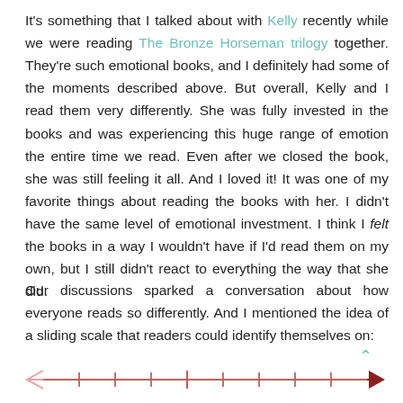It's something that I talked about with Kelly recently while we were reading The Bronze Horseman trilogy together. They're such emotional books, and I definitely had some of the moments described above. But overall, Kelly and I read them very differently. She was fully invested in the books and was experiencing this huge range of emotion the entire time we read. Even after we closed the book, she was still feeling it all. And I loved it! It was one of my favorite things about reading the books with her. I didn't have the same level of emotional investment. I think I felt the books in a way I wouldn't have if I'd read them on my own, but I still didn't react to everything the way that she did.
Our discussions sparked a conversation about how everyone reads so differently. And I mentioned the idea of a sliding scale that readers could identify themselves on:
[Figure (other): A horizontal sliding scale (number line) with a light pink hollow left arrow on the left end and a dark red/maroon solid right arrow on the right end. Several vertical tick marks evenly spaced along the line.]